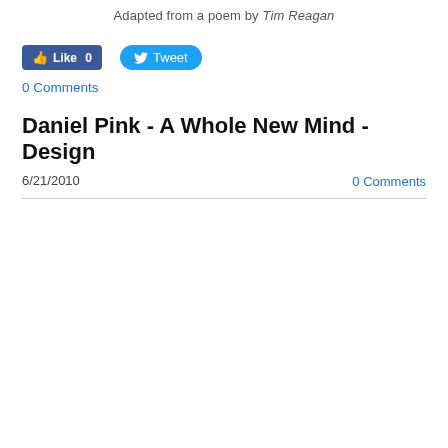Adapted from a poem by Tim Reagan
[Figure (screenshot): Social media buttons: Facebook Like (0) and Twitter Tweet]
0 Comments
Daniel Pink - A Whole New Mind - Design
6/21/2010
0 Comments